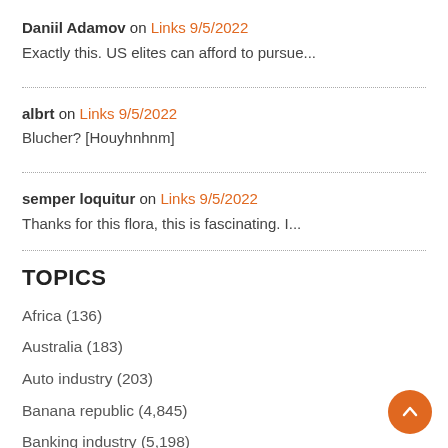Daniil Adamov on Links 9/5/2022
Exactly this. US elites can afford to pursue...
albrt on Links 9/5/2022
Blucher? [Houyhnhnm]
semper loquitur on Links 9/5/2022
Thanks for this flora, this is fascinating. I...
TOPICS
Africa (136)
Australia (183)
Auto industry (203)
Banana republic (4,845)
Banking industry (5,198)
Brexit (344)